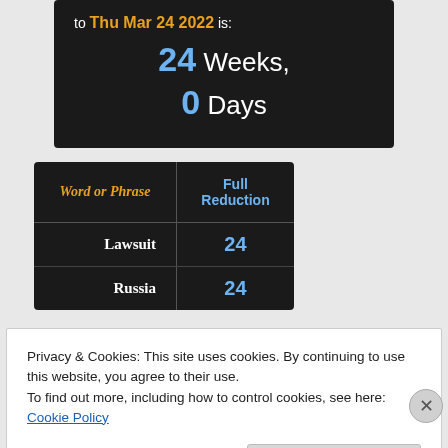to Thu Mar 24 2022 is: 24 Weeks, 0 Days
| Word or Phrase | Full Reduction |
| --- | --- |
| Lawsuit | 24 |
| Russia | 24 |
Privacy & Cookies: This site uses cookies. By continuing to use this website, you agree to their use.
To find out more, including how to control cookies, see here: Cookie Policy
Close and accept